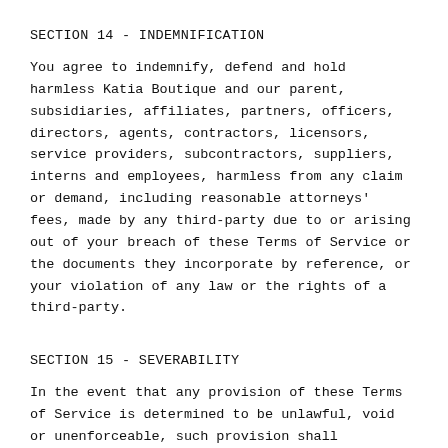SECTION 14 - INDEMNIFICATION
You agree to indemnify, defend and hold harmless Katia Boutique and our parent, subsidiaries, affiliates, partners, officers, directors, agents, contractors, licensors, service providers, subcontractors, suppliers, interns and employees, harmless from any claim or demand, including reasonable attorneys' fees, made by any third-party due to or arising out of your breach of these Terms of Service or the documents they incorporate by reference, or your violation of any law or the rights of a third-party.
SECTION 15 - SEVERABILITY
In the event that any provision of these Terms of Service is determined to be unlawful, void or unenforceable, such provision shall nonetheless be enforceable to the fullest extent permitted by applicable law, and the unenforceable portion shall be deemed to be severed from these